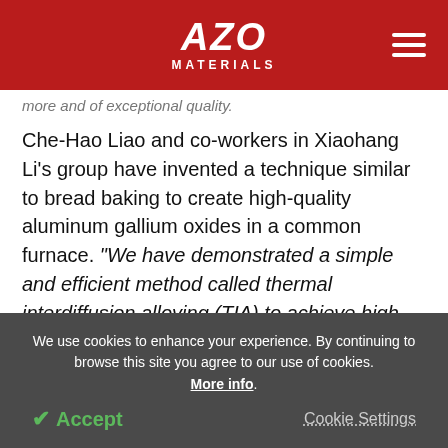AZO MATERIALS
more and of exceptional quality.
Che-Hao Liao and co-workers in Xiaohang Li's group have invented a technique similar to bread baking to create high-quality aluminum gallium oxides in a common furnace. "We have demonstrated a simple and efficient method called thermal interdiffusion alloying (TIA) to achieve high-quality thin films while also being able to control the composition with the temperature and time,"
We use cookies to enhance your experience. By continuing to browse this site you agree to our use of cookies. More info.
Accept   Cookie Settings